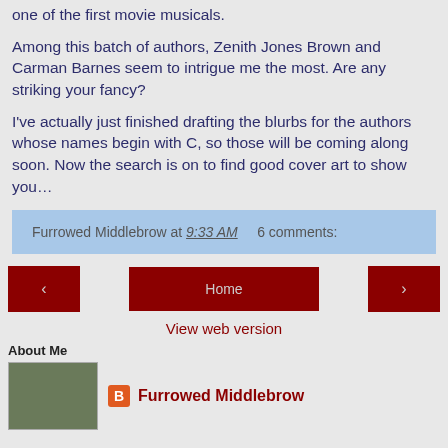one of the first movie musicals.
Among this batch of authors, Zenith Jones Brown and Carman Barnes seem to intrigue me the most. Are any striking your fancy?
I've actually just finished drafting the blurbs for the authors whose names begin with C, so those will be coming along soon. Now the search is on to find good cover art to show you…
Furrowed Middlebrow at 9:33 AM    6 comments:
Home
View web version
About Me
Furrowed Middlebrow